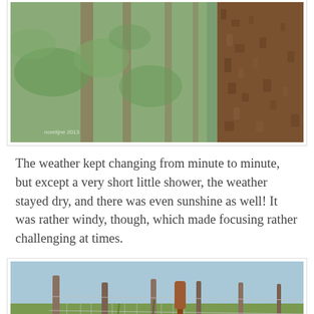[Figure (photo): A forest scene with green foliage and a large tree trunk with rough brown bark in the foreground on the right side. Blurred tree trunks visible in the background. Watermark text 'norelijne 2013' visible at bottom left.]
The weather kept changing from minute to minute, but except a very short little shower, the weather stayed dry, and there was even sunshine as well! It was rather windy, though, which made focusing rather challenging at times.
[Figure (photo): A close-up photograph of a wire mesh fence with wooden posts, surrounded by wild yellow flowers and tall grass. A reddish-brown cattail or similar plant is visible. Watermark text 'norelijne 2013' at bottom right.]